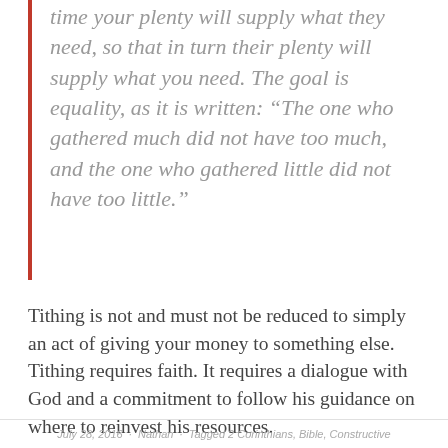time your plenty will supply what they need, so that in turn their plenty will supply what you need. The goal is equality, as it is written: “The one who gathered much did not have too much, and the one who gathered little did not have too little.”
Tithing is not and must not be reduced to simply an act of giving your money to something else. Tithing requires faith. It requires a dialogue with God and a commitment to follow his guidance on where to reinvest his resources.
July 28, 2016 · Nathan · Tagged 2 Corinthians, Bible, Constructive